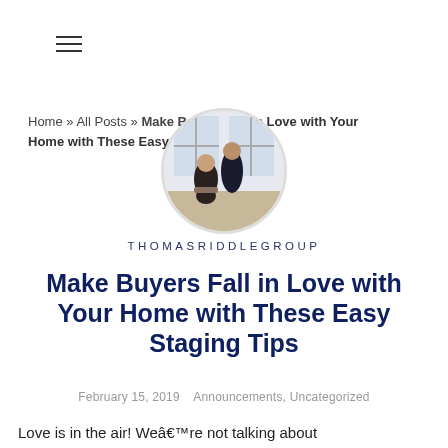≡
Home » All Posts » Make Buyers Fall in Love with Your Home with These Easy Staging Tips
[Figure (photo): Circular profile photo of two people (man and woman) seated in a bright interior room]
THOMASRIDDLEGROUP
Make Buyers Fall in Love with Your Home with These Easy Staging Tips
February 15, 2019   Announcements, Uncategorized
Love is in the air! We're not talking about